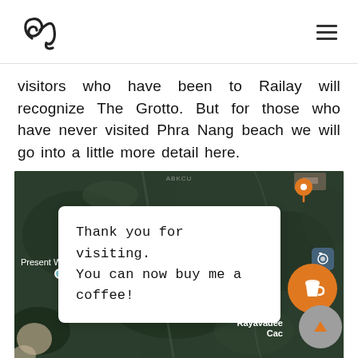[logo] [hamburger menu]
visitors who have been to Railay will recognize The Grotto. But for those who have never visited Phra Nang beach we will go into a little more detail here.
[Figure (map): Satellite/aerial map view with a popup dialog reading 'Thank you for visiting. You can now buy me a coffee!' overlaid on a dark green aerial map. Labels visible: 'Present W', 'Rayavadee', 'Cac'. An orange location pin, a buy-me-a-coffee orange circular button with a coffee cup icon, a camera icon, and a grey scroll-to-top button with an upward arrow are visible.]